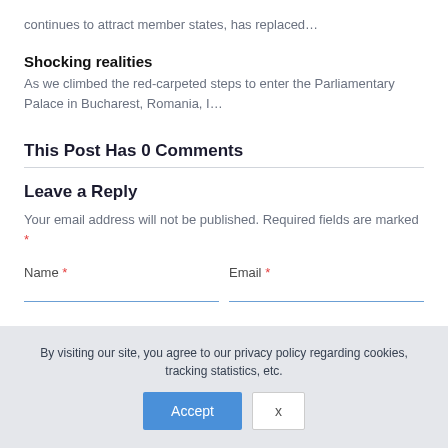continues to attract member states, has replaced…
Shocking realities
As we climbed the red-carpeted steps to enter the Parliamentary Palace in Bucharest, Romania, I…
This Post Has 0 Comments
Leave a Reply
Your email address will not be published. Required fields are marked *
Name * Email *
By visiting our site, you agree to our privacy policy regarding cookies, tracking statistics, etc.